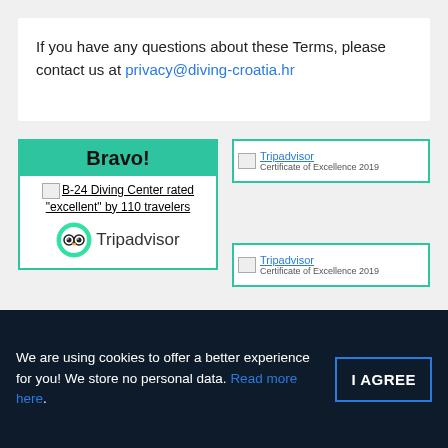If you have any questions about these Terms, please contact us at privacy@diving-croatia.hr
[Figure (screenshot): Tripadvisor Bravo widget showing B-24 Diving Center rated excellent by 110 travelers, with Tripadvisor logo]
[Figure (screenshot): Tripadvisor Certificate of Excellence 2019 badge (top right, partially visible)]
[Figure (screenshot): Tripadvisor Certificate of Excellence 2019 badge (bottom right, partially visible)]
We are using cookies to offer a better experience for you! We store no personal data. Read more here.